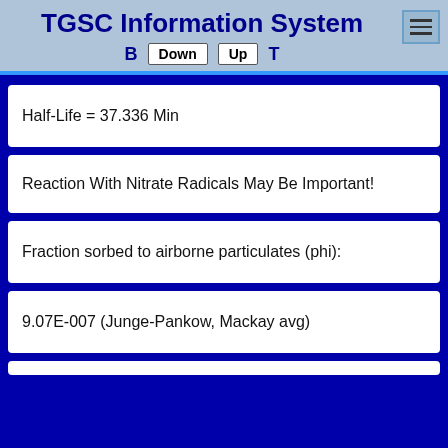TGSC Information System
Half-Life = 37.336 Min
Reaction With Nitrate Radicals May Be Important!
Fraction sorbed to airborne particulates (phi):
9.07E-007 (Junge-Pankow, Mackay avg)